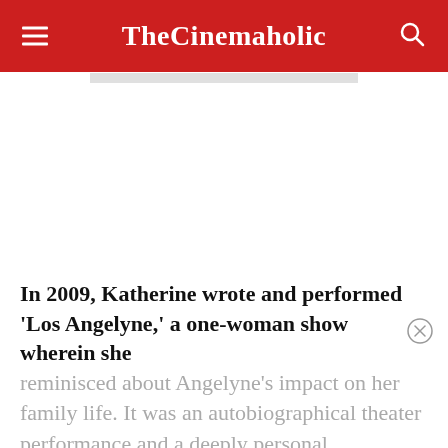TheCinemaholic
[Figure (other): White advertisement placeholder area]
In 2009, Katherine wrote and performed ‘Los Angelyne,’ a one-woman show wherein she reminisced about Angelyne’s impact on her family life. It was an autobiographical theater performance and a deeply personal recollection of her opinions on the billboard